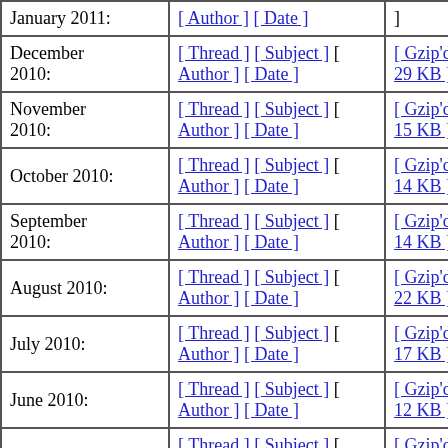| Month | Index Links | Archive |
| --- | --- | --- |
| January 2011: | [ Thread ] [ Subject ] [ Author ] [ Date ] | ]
 |
| December 2010: | [ Thread ] [ Subject ] [ Author ] [ Date ] | [ Gzip'd Text 29 KB ] |
| November 2010: | [ Thread ] [ Subject ] [ Author ] [ Date ] | [ Gzip'd Text 15 KB ] |
| October 2010: | [ Thread ] [ Subject ] [ Author ] [ Date ] | [ Gzip'd Text 14 KB ] |
| September 2010: | [ Thread ] [ Subject ] [ Author ] [ Date ] | [ Gzip'd Text 14 KB ] |
| August 2010: | [ Thread ] [ Subject ] [ Author ] [ Date ] | [ Gzip'd Text 22 KB ] |
| July 2010: | [ Thread ] [ Subject ] [ Author ] [ Date ] | [ Gzip'd Text 17 KB ] |
| June 2010: | [ Thread ] [ Subject ] [ Author ] [ Date ] | [ Gzip'd Text 12 KB ] |
| May 2010: | [ Thread ] [ Subject ] [ Author ] [ Date ] | [ Gzip'd Text 25 KB ] |
| April 2010: | [ Thread ] [ Subject ] [ Author ] [ Date ] | [ Gzip'd Text 43 KB ] |
| March 2010: | [ Thread ] [ Subject ] [ Author ] [ Date ] | [ Gzip'd Text 37 KB ] |
| February 2010: | [ Thread ] [ Subject ] [ | [ Gzip'd Text 20 KB |